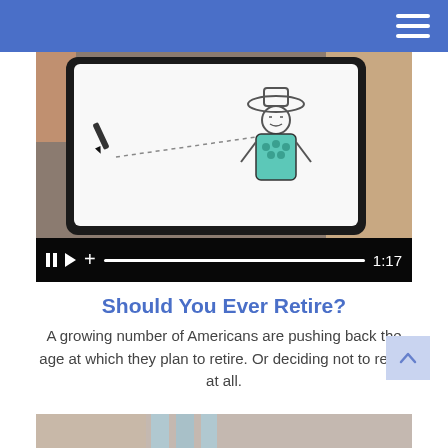[Figure (screenshot): Video player showing a hand drawing on a tablet with a stylized cartoon character wearing a hat; video controls show pause button, play button, add button, progress bar, and timestamp 1:17 at bottom]
Should You Ever Retire?
A growing number of Americans are pushing back the age at which they plan to retire. Or deciding not to retire at all.
[Figure (photo): Partial photo visible at the bottom of the page, appears to show an interior scene]